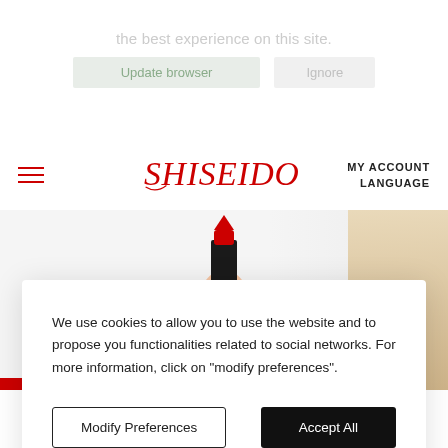[Figure (screenshot): Top of Shiseido website with a faded cookie update notification banner showing 'the best experience on this site.' text and two faded buttons: 'Update browser' and 'Ignore']
[Figure (logo): Shiseido logo in red cursive/italic font, centered in navigation bar]
MY ACCOUNT
LANGUAGE
[Figure (photo): Hand with red nail polish holding a red and black Shiseido lipstick, partially visible at top center of page]
We use cookies to allow you to use the website and to propose you functionalities related to social networks. For more information, click on "modify preferences".
Modify Preferences
Accept All